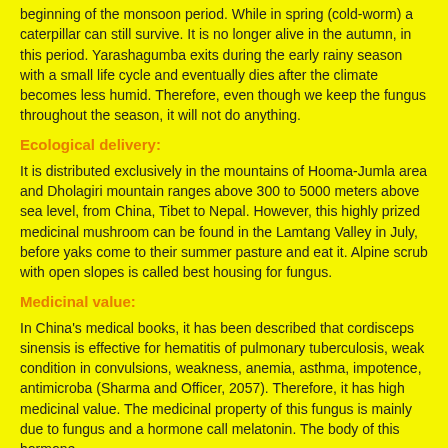beginning of the monsoon period. While in spring (cold-worm) a caterpillar can still survive. It is no longer alive in the autumn, in this period. Yarashagumba exits during the early rainy season with a small life cycle and eventually dies after the climate becomes less humid. Therefore, even though we keep the fungus throughout the season, it will not do anything.
Ecological delivery:
It is distributed exclusively in the mountains of Hooma-Jumla area and Dholagiri mountain ranges above 300 to 5000 meters above sea level, from China, Tibet to Nepal. However, this highly prized medicinal mushroom can be found in the Lamtang Valley in July, before yaks come to their summer pasture and eat it. Alpine scrub with open slopes is called best housing for fungus.
Medicinal value:
In China's medical books, it has been described that cordisceps sinensis is effective for hematitis of pulmonary tuberculosis, weak condition in convulsions, weakness, anemia, asthma, impotence, antimicroba (Sharma and Officer, 2057). Therefore, it has high medicinal value. The medicinal property of this fungus is mainly due to fungus and a hormone call melatonin. The body of this hormone